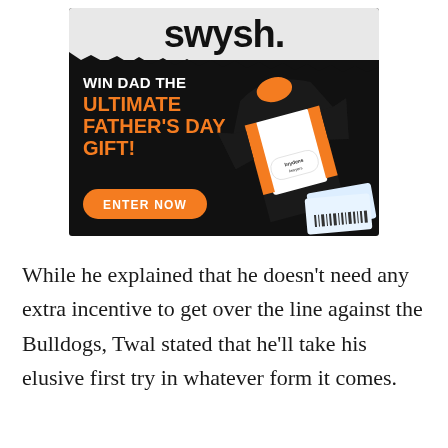[Figure (infographic): Swysh advertisement banner with black background, torn paper effect at top revealing logo 'swysh.' in black text on white. Text reads 'WIN DAD THE ULTIMATE FATHER'S DAY GIFT!' with orange headline text. Orange brushstroke button 'ENTER NOW'. Image of a Wests Tigers NRL jersey (black, white and orange with 'brydens lawyers' sponsor) and event tickets on the right.]
While he explained that he doesn't need any extra incentive to get over the line against the Bulldogs, Twal stated that he'll take his elusive first try in whatever form it comes.